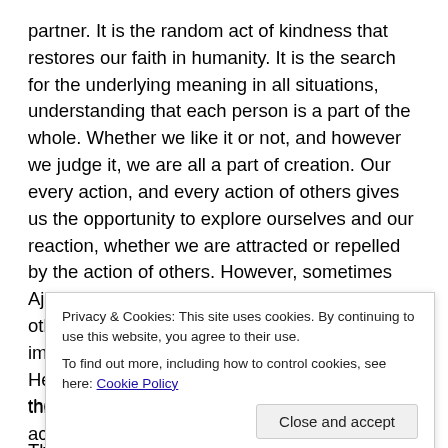partner. It is the random act of kindness that restores our faith in humanity. It is the search for the underlying meaning in all situations, understanding that each person is a part of the whole. Whether we like it or not, and however we judge it, we are all a part of creation. Our every action, and every action of others gives us the opportunity to explore ourselves and our reaction, whether we are attracted or repelled by the action of others. However, sometimes Ajpu can lead us to become immersed in the other world, to lose sight of reality, it is important to remember to stay in touch with the Heart of the Earth as we reach to the Heart of the Sky.
The number 13 is the final number. It represents the spirit
Privacy & Cookies: This site uses cookies. By continuing to use this website, you agree to their use.
To find out more, including how to control cookies, see here: Cookie Policy
through strongly. It is a very good day for activities such as